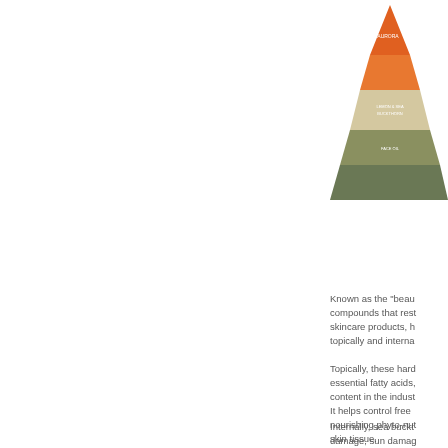[Figure (photo): Partial view of a triangular/pyramid-shaped product box with orange and gray/green stripes and text on the right side of the page, cropped at the edge.]
Known as the “beau… compounds that rest… skincare products, h… topically and interna…
Topically, these hard… essential fatty acids,… content in the indust… It helps control free … nourishing phyto-nut… skin tissue.
Internally, sea buckt… damage, sun damag… studies on sea buck… Dr.Oz featured the s…